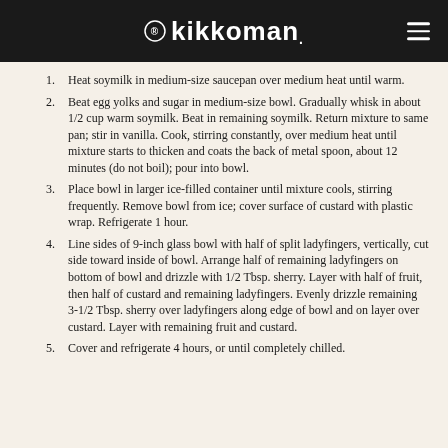kikkoman
Heat soymilk in medium-size saucepan over medium heat until warm.
Beat egg yolks and sugar in medium-size bowl. Gradually whisk in about 1/2 cup warm soymilk. Beat in remaining soymilk. Return mixture to same pan; stir in vanilla. Cook, stirring constantly, over medium heat until mixture starts to thicken and coats the back of metal spoon, about 12 minutes (do not boil); pour into bowl.
Place bowl in larger ice-filled container until mixture cools, stirring frequently. Remove bowl from ice; cover surface of custard with plastic wrap. Refrigerate 1 hour.
Line sides of 9-inch glass bowl with half of split ladyfingers, vertically, cut side toward inside of bowl. Arrange half of remaining ladyfingers on bottom of bowl and drizzle with 1/2 Tbsp. sherry. Layer with half of fruit, then half of custard and remaining ladyfingers. Evenly drizzle remaining 3-1/2 Tbsp. sherry over ladyfingers along edge of bowl and on layer over custard. Layer with remaining fruit and custard.
Cover and refrigerate 4 hours, or until completely chilled.